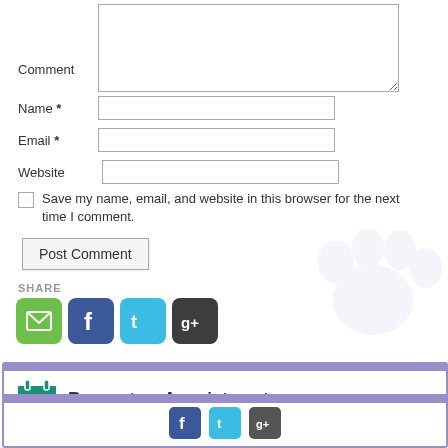Comment
Name *
Email *
Website
Save my name, email, and website in this browser for the next time I comment.
Post Comment
SHARE
[Figure (infographic): Share icons: email (green), Facebook (blue), Twitter (cyan), Google+ (dark)]
[Figure (infographic): Paw print watermark in light gray/lavender]
Request an Appointment
[Figure (infographic): Accessibility widget with wheelchair icon and chevron]
[Figure (infographic): Bottom social bar with Facebook, Twitter, Google+ icons]